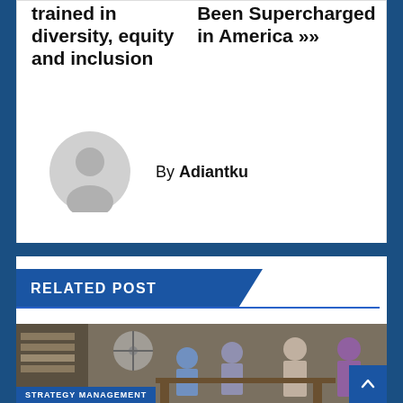trained in diversity, equity and inclusion
Been Supercharged in America »
By Adiantku
[Figure (illustration): Gray circular avatar/profile placeholder icon with silhouette of a person]
RELATED POST
[Figure (photo): People working in what appears to be a market or workshop setting, with fans and equipment visible]
STRATEGY MANAGEMENT